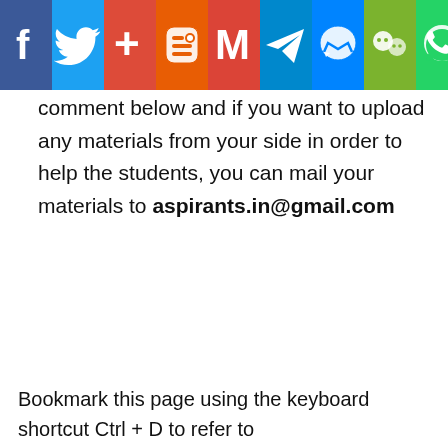[Figure (other): Social media share bar with icons: Facebook (blue), Twitter (light blue), Google+ (red-orange), Blogger (orange), Gmail (red), Telegram (blue), Messenger (blue), WeChat (green), WhatsApp (green)]
comment below and if you want to upload any materials from your side in order to help the students, you can mail your materials to aspirants.in@gmail.com
Bookmark this page using the keyboard shortcut Ctrl + D to refer to